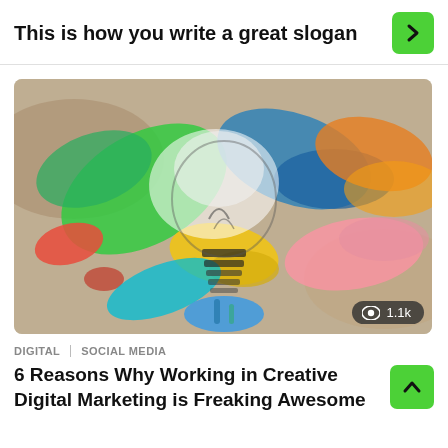This is how you write a great slogan
[Figure (illustration): Colorful exploding lightbulb illustration with paint splashes in multiple colors on a textured background, with a view count badge showing 1.1k]
DIGITAL  SOCIAL MEDIA
6 Reasons Why Working in Creative Digital Marketing is Freaking Awesome